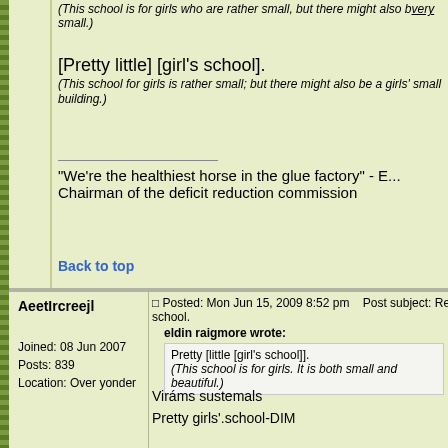(This school is for girls who are rather small, but there might also be a very small.)
[Pretty little] [girl's school].
(This school for girls is rather small; but there might also be a girls' small building.)
"We're the healthiest horse in the glue factory" - E... Chairman of the deficit reduction commission
Back to top
AeetIrcreejl
Joined: 08 Jun 2007
Posts: 839
Location: Over yonder
Posted: Mon Jun 15, 2009 8:52 pm    Post subject: Re: T... school.
eldin raigmore wrote:
Pretty [little [girl's school]].
(This school is for girls. It is both small and beautiful.)
Viráms sustemals
Pretty girls'.school-DIM
Then he wrote:
Pretty [[little girl]'s school].
(This school is for little girls. It is beautiful.)
Viráms stems sualús
Pretty school girls-DIM-DAT.PL